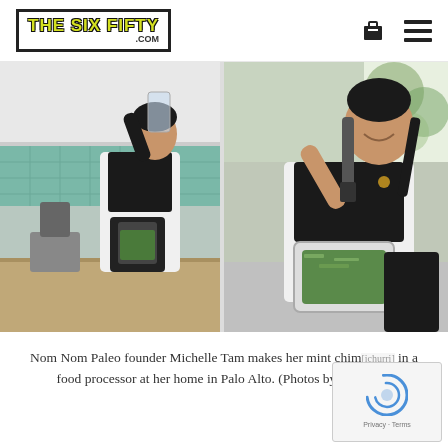THE SIX FIFTY .COM
[Figure (photo): Two side-by-side photos of Nom Nom Paleo founder Michelle Tam cooking in her kitchen. Left photo: woman in white apron pouring liquid into a food processor from a glass pitcher. Right photo: same woman smiling while using a hand blender in a food processor bowl filled with green contents.]
Nom Nom Paleo founder Michelle Tam makes her mint chim[ichurri] in a food processor at her home in Palo Alto. (Photos by [Marc] Gauthier)